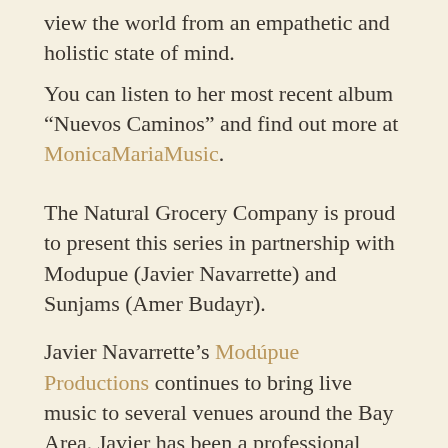view the world from an empathetic and holistic state of mind.
You can listen to her most recent album “Nuevos Caminos” and find out more at MonicaMariaMusic.
The Natural Grocery Company is proud to present this series in partnership with Modupue (Javier Navarrette) and Sunjams (Amer Budayr).
Javier Navarrette’s Modúpue Productions continues to bring live music to several venues around the Bay Area. Javier has been a professional musician and music educator in the Oakland Unified School District for the past 20 years. Over the past 2 years Navarrette has produced outdoors events that have proven instumental in enabling musicians to deal with some of the fallout of the pandemic and shutdown that followed. Most recently he has been curating